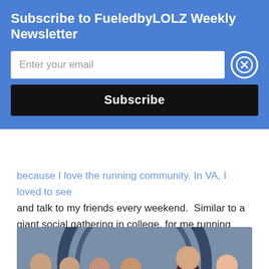Subscribe to FueledbyLOLZ Weekly Newsletter
Enter your email
Subscribe
because I love the running community. In VA, I loved to see and talk to my friends every weekend. Similar to a giant social gathering in college, for me running road races allowed me to catch up with people throughout the week that lived 45 minutes away.
[Figure (photo): Group of six young female runners wearing matching maroon/dark red uniforms with race bibs numbered 322, 320, 328, 323, 319, posing together in front of a wall with a large circular logo.]